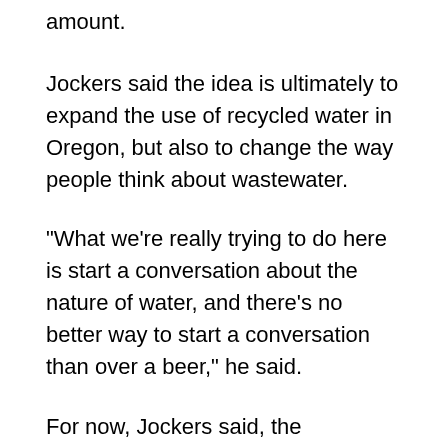amount.
Jockers said the idea is ultimately to expand the use of recycled water in Oregon, but also to change the way people think about wastewater.
"What we're really trying to do here is start a conversation about the nature of water, and there's no better way to start a conversation than over a beer," he said.
For now, Jockers said, the company's plan is just a demonstration project to show that it's possible to treat water to very high standards. But he notes that water shortages have already forced other communities to get comfortable with drinking recycled water.